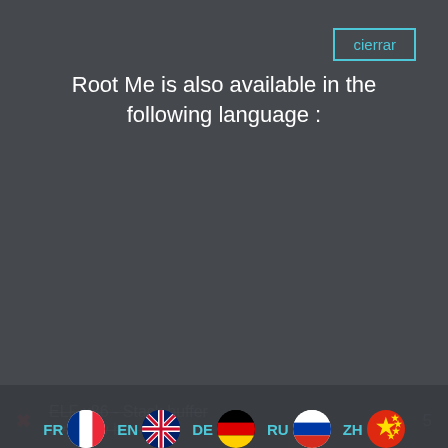[Figure (screenshot): Modal dialog overlay on a dark background showing language selection for Root Me website]
Root Me is also available in the following language :
FR EN DE RU ZH (language flags)
ELF x86 - Stack buffer overflow basic 1  5
ELF x86 - Stack buffer overflow basic 2  10
PE32 - Stack buffer overflow basic  10
ELF x86 - Format string bug basic 1  15
ELF x64 - Stack buffer overflow - basic  20
ELF x86 - Format string bug  20